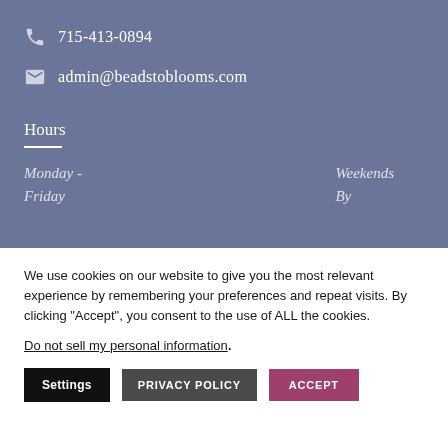715-413-0894
admin@beadstoblooms.com
Hours
Monday - Friday
Weekends By
We use cookies on our website to give you the most relevant experience by remembering your preferences and repeat visits. By clicking “Accept”, you consent to the use of ALL the cookies.
Do not sell my personal information.
Settings
PRIVACY POLICY
ACCEPT